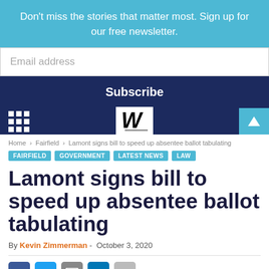Don't miss the stories that matter most. Sign up for our free newsletter.
Email address
Subscribe
Home › Fairfield › Lamont signs bill to speed up absentee ballot tabulating
FAIRFIELD  GOVERNMENT  LATEST NEWS  LAW
Lamont signs bill to speed up absentee ballot tabulating
By Kevin Zimmerman - October 3, 2020